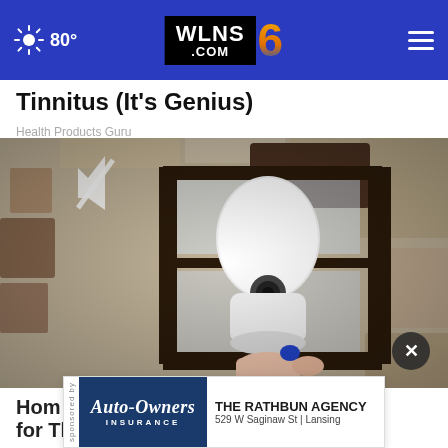WLNS 6 .COM | 80° | Navigation header
Tinnitus (It's Genius)
Health Products Guru
[Figure (photo): Close-up video of a person's hand inserting or adjusting a white smart device (security camera or similar) into a dark outdoor lantern-style light fixture mounted on a textured stone wall. A mute icon and close button are visible overlaid on the video.]
Hom… for This
[Figure (other): Auto-Owners Insurance advertisement banner: logo on dark blue background with italic 'Auto-Owners INSURANCE' text, and 'THE RATHBUN AGENCY 529 W Saginaw St | Lansing' on white background. Labeled 'sponsored by' vertically on left side.]